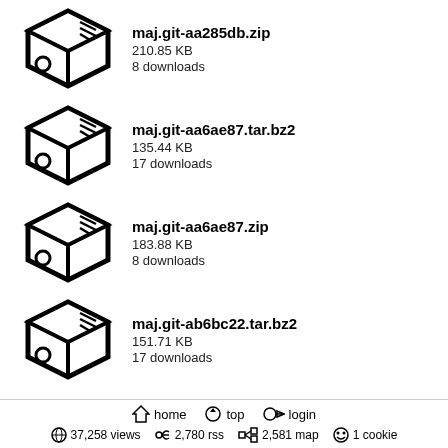maj.git-aa285db.zip
210.85 KB
8 downloads
maj.git-aa6ae87.tar.bz2
135.44 KB
17 downloads
maj.git-aa6ae87.zip
183.88 KB
8 downloads
maj.git-ab6bc22.tar.bz2
151.71 KB
17 downloads
maj.git-ab6bc22.zip
210.84 KB
9 downloads
maj.git-adef726.tar.bz2
153.48 KB
15 downloads
home  top  login  |  37,258 views  2,780 rss  2,581 map  1 cookie